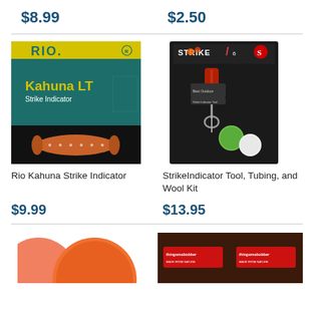$8.99
$2.50
[Figure (photo): Rio Kahuna LT Strike Indicator product package — teal and yellow box with orange cylindrical float]
[Figure (photo): StrikeIndicator Tool, Tubing, and Wool Kit product package — black card with tool and green/white bobbers]
Rio Kahuna Strike Indicator
StrikeIndicator Tool, Tubing, and Wool Kit
$9.99
$13.95
[Figure (photo): Partial view of an orange/pink bobber float — bottom of page, left column]
[Figure (photo): Thingamabobber product packaging — brown/dark background with two bobber packages visible]